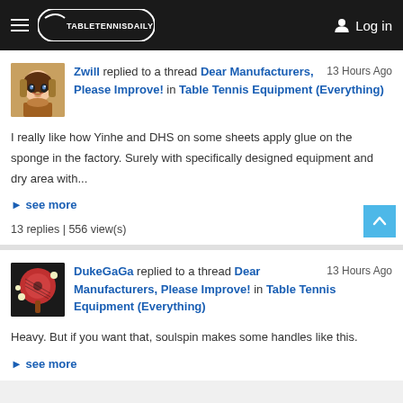TableTennisDaily - Log in
Zwill replied to a thread Dear Manufacturers, Please Improve! in Table Tennis Equipment (Everything) - 13 Hours Ago
I really like how Yinhe and DHS on some sheets apply glue on the sponge in the factory. Surely with specifically designed equipment and dry area with...
see more
13 replies | 556 view(s)
DukeGaGa replied to a thread Dear Manufacturers, Please Improve! in Table Tennis Equipment (Everything) - 13 Hours Ago
Heavy. But if you want that, soulspin makes some handles like this.
see more